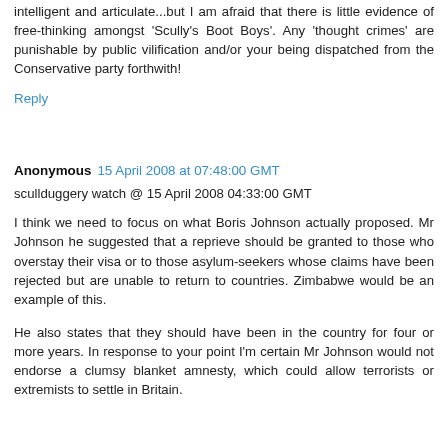intelligent and articulate...but I am afraid that there is little evidence of free-thinking amongst 'Scully's Boot Boys'. Any 'thought crimes' are punishable by public vilification and/or your being dispatched from the Conservative party forthwith!
Reply
Anonymous  15 April 2008 at 07:48:00 GMT
scullduggery watch @ 15 April 2008 04:33:00 GMT
I think we need to focus on what Boris Johnson actually proposed. Mr Johnson he suggested that a reprieve should be granted to those who overstay their visa or to those asylum-seekers whose claims have been rejected but are unable to return to countries. Zimbabwe would be an example of this.
He also states that they should have been in the country for four or more years. In response to your point I'm certain Mr Johnson would not endorse a clumsy blanket amnesty, which could allow terrorists or extremists to settle in Britain.